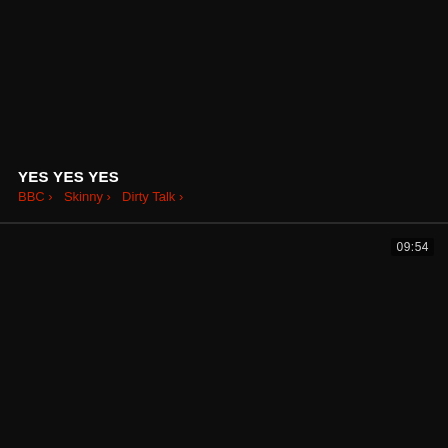[Figure (screenshot): Dark/black video thumbnail panel, top half of screen]
YES YES YES
BBC > Skinny > Dirty Talk >
[Figure (screenshot): Dark/black video thumbnail panel, bottom half of screen with 09:54 duration badge]
09:54